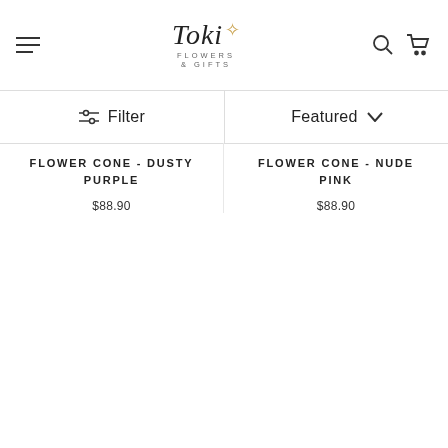[Figure (logo): Toki Flowers & Gifts logo with script font and wheat/leaf decorative element]
Filter
Featured
FLOWER CONE - DUSTY PURPLE
$88.90
FLOWER CONE - NUDE PINK
$88.90